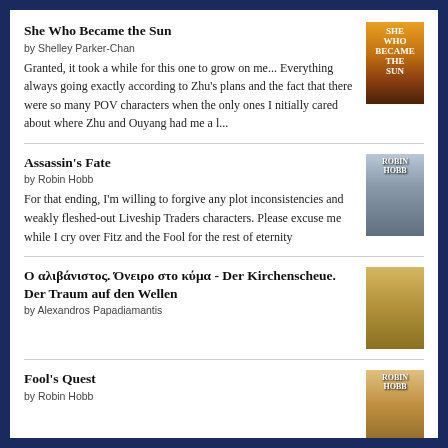She Who Became the Sun
by Shelley Parker-Chan
Granted, it took a while for this one to grow on me... Everything always going exactly according to Zhu’s plans and the fact that there were so many POV characters when the only ones I nitially cared about where Zhu and Ouyang had me a l...
Assassin’s Fate
by Robin Hobb
For that ending, I’m willing to forgive any plot inconsistencies and weakly fleshed-out Liveship Traders characters. Please excuse me while I cry over Fitz and the Fool for the rest of eternity
Ο αλιβάνιστος. Όνειρο στο κύμα - Der Kirchenscheue. Der Traum auf den Wellen
by Alexandros Papadiamantis
Fool’s Quest
by Robin Hobb